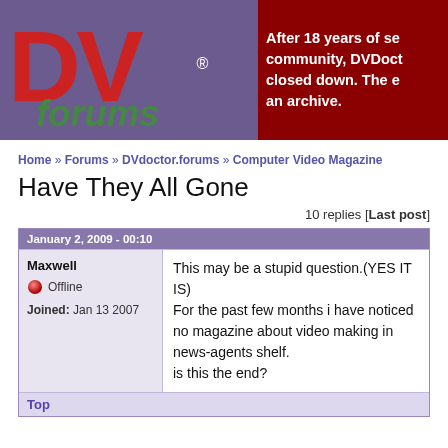[Figure (logo): DVforums logo with DV in large red and green letters on purple background]
After 18 years of service to the community, DVDoctor.forums has closed down. The existing site is an archive.
Home » Forums » DVdoctor.forums » Computer Video Magazine
Have They All Gone
10 replies [Last post]
January 2, 2009 - 00:10
Maxwell
Offline
Joined: Jan 13 2007
This may be a stupid question.(YES IT IS)
For the past few months i have noticed no magazine about video making in news-agents shelf.
is this the end?
Top